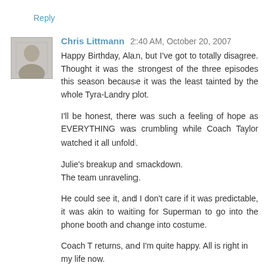Reply
Chris Littmann 2:40 AM, October 20, 2007
Happy Birthday, Alan, but I've got to totally disagree. Thought it was the strongest of the three episodes this season because it was the least tainted by the whole Tyra-Landry plot.
I'll be honest, there was such a feeling of hope as EVERYTHING was crumbling while Coach Taylor watched it all unfold.
Julie's breakup and smackdown.
The team unraveling.
He could see it, and I don't care if it was predictable, it was akin to waiting for Superman to go into the phone booth and change into costume.
Coach T returns, and I'm quite happy. All is right in my life now.